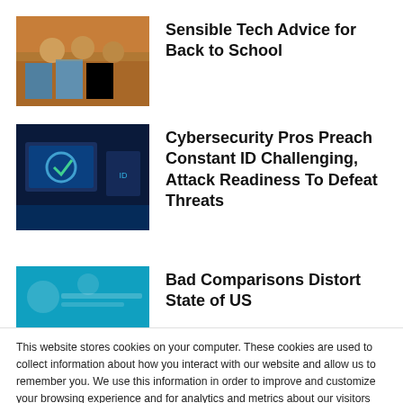Sensible Tech Advice for Back to School
[Figure (photo): Photo of students with technology, back to school theme]
Cybersecurity Pros Preach Constant ID Challenging, Attack Readiness To Defeat Threats
[Figure (photo): Cybersecurity / digital lock concept image on dark blue background]
Bad Comparisons Distort State of US
[Figure (photo): Teal/cyan infographic or data visualization image]
This website stores cookies on your computer. These cookies are used to collect information about how you interact with our website and allow us to remember you. We use this information in order to improve and customize your browsing experience and for analytics and metrics about our visitors both on this website and other media. To find out more about the cookies we use, see our Privacy Policy. California residents have the right to direct us not to sell their personal information to third parties by filing an Opt-Out Request: Do Not Sell My Personal Info.
Accept